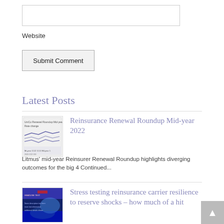[Figure (other): Text input field (website URL input box)]
Website
Submit Comment
Latest Posts
[Figure (other): Thumbnail image of Reinsurance Renewal Roundup Mid-year 2022 report with line chart showing rate change]
Reinsurance Renewal Roundup Mid-year 2022
Litmus' mid-year Reinsurer Renewal Roundup highlights diverging outcomes for the big 4 Continued...
[Figure (other): Thumbnail image for Stress testing reinsurance carrier resilience to reserve shocks article with blue abstract imagery]
Stress testing reinsurance carrier resilience to reserve shocks – how much of a hit